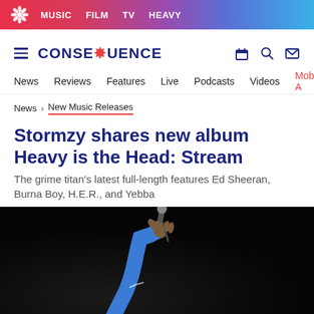MUSIC  FILM  TV  HEAVY
CONSEQUENCE
News  Reviews  Features  Live  Podcasts  Videos  Mobile A
News > New Music Releases
Stormzy shares new album Heavy is the Head: Stream
The grime titan's latest full-length features Ed Sheeran, Burna Boy, H.E.R., and Yebba
[Figure (photo): Performer (Stormzy) raising a microphone in the air on a dark stage, wearing a blue jacket]